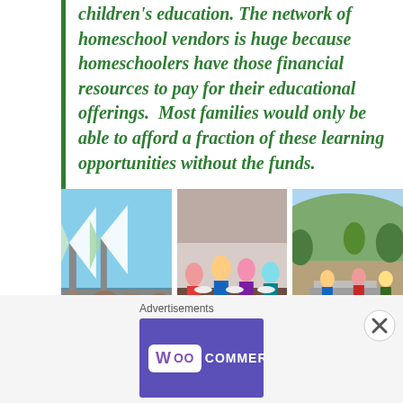children's education. The network of homeschool vendors is huge because homeschoolers have those financial resources to pay for their educational offerings. Most families would only be able to afford a fraction of these learning opportunities without the funds.
[Figure (photo): Three side-by-side photos: (1) children and adults near sailboats on a marina, (2) children and adults doing a hands-on activity at a table indoors, (3) people at an outdoor setting with rocky/hilly terrain.]
The ecosystem of classes, programs and
Advertisements
[Figure (screenshot): WooCommerce advertisement banner: purple background, WooCommerce logo on left, text 'The most customizable eCommerce platform' on right.]